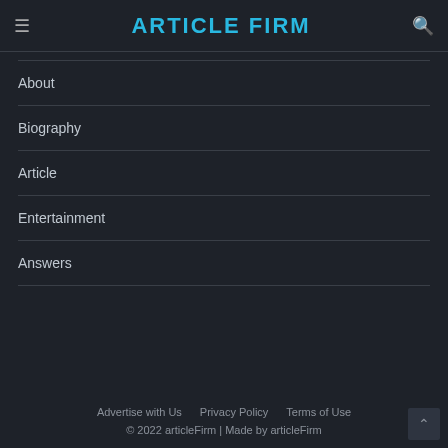≡  ARTICLE FIRM  🔍
About
Biography
Article
Entertainment
Answers
Advertise with Us   Privacy Policy   Terms of Use
© 2022 articleFirm | Made by articleFirm